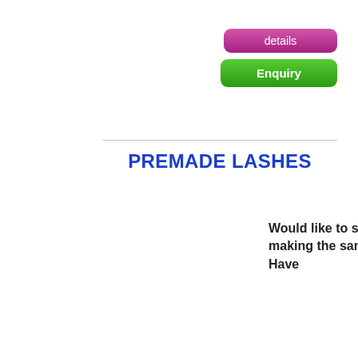[Figure (screenshot): Pink 'details' button (rounded rectangle, pink/magenta gradient)]
[Figure (screenshot): Green 'Enquiry' button (rounded rectangle, green gradient)]
PREMADE LASHES
Would like to save time? Tired of making the same fans everytime? Have
[Figure (screenshot): Pink 'details' button (rounded rectangle, pink/magenta gradient)]
[Figure (screenshot): Green 'Enquiry' button (rounded rectangle, green gradient)]
This site uses cookies to improve your user experience. By using this site you agree to these cookies being set. To find out more see our cookies policy.
[Figure (screenshot): OK button with checkmark circle, pink outline]